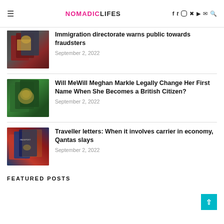NOMADICLIFES
[Figure (photo): Stack of dark red and black passports]
Immigration directorate warns public towards fraudsters
September 2, 2022
[Figure (photo): Stack of green passports]
Will MeWill Meghan Markle Legally Change Her First Name When She Becomes a British Citizen?
September 2, 2022
[Figure (photo): Stack of blue, red and dark passports including PASSPORT labeled covers]
Traveller letters: When it involves carrier in economy, Qantas slays
September 2, 2022
FEATURED POSTS